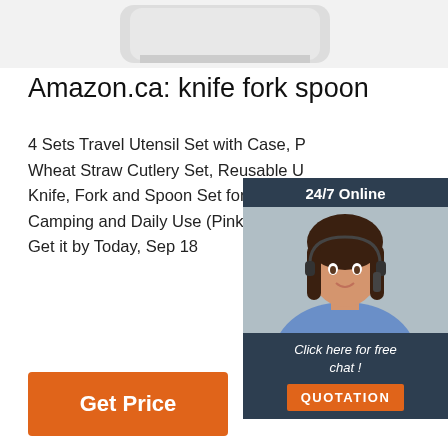[Figure (photo): Top of a white product (knife/utensil set case) partially visible at top of page]
Amazon.ca: knife fork spoon
4 Sets Travel Utensil Set with Case, P Wheat Straw Cutlery Set, Reusable U Knife, Fork and Spoon Set for Adult Tr Camping and Daily Use (Pink) $21.49 Get it by Today, Sep 18
[Figure (photo): Customer service representative (woman with headset) in a 24/7 Online chat widget with dark navy background. Bottom shows 'Click here for free chat!' and an orange QUOTATION button.]
Get Price
[Figure (photo): Bottom banner showing wooden-handled knives on left and a large silver spoon on right with orange 'TOP' logo]